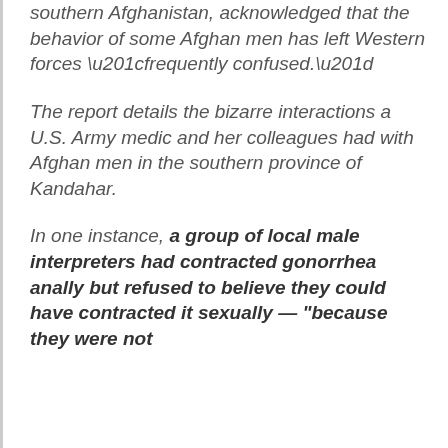southern Afghanistan, acknowledged that the behavior of some Afghan men has left Western forces “frequently confused.”
The report details the bizarre interactions a U.S. Army medic and her colleagues had with Afghan men in the southern province of Kandahar.
In one instance, a group of local male interpreters had contracted gonorrhea anally but refused to believe they could have contracted it sexually — “because they were not